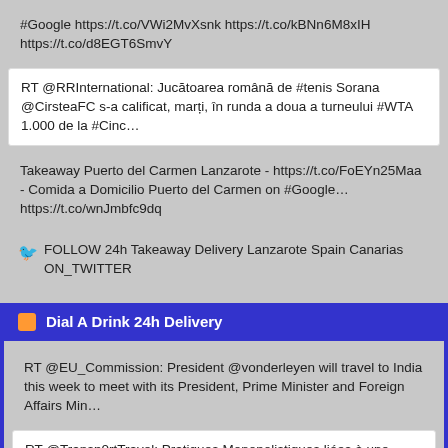#Google https://t.co/VWi2MvXsnk https://t.co/kBNn6M8xIH https://t.co/d8EGT6SmvY
RT @RRInternational: Jucătoarea română de #tenis Sorana @CirsteaFC s-a calificat, marți, în runda a doua a turneului #WTA 1.000 de la #Cinc…
Takeaway Puerto del Carmen Lanzarote - https://t.co/FoEYn25Maa - Comida a Domicilio Puerto del Carmen on #Google… https://t.co/wnJmbfc9dq
🐦 FOLLOW 24h Takeaway Delivery Lanzarote Spain Canarias ON_TWITTER
Dial A Drink 24h Delivery
RT @EU_Commission: President @vonderleyen will travel to India this week to meet with its President, Prime Minister and Foreign Affairs Min…
RT @Transp0rtTravel: Pratiques Monopolistiques liées à une limitation du nombre de permis et de licences accordés au secteur du Taxi / Tran…
RT @Transp0rtTravel: Discriminare-Rasism Canaria | Practici de monopol, care se manifestă în mod concret prin limitarea numărului de permis…